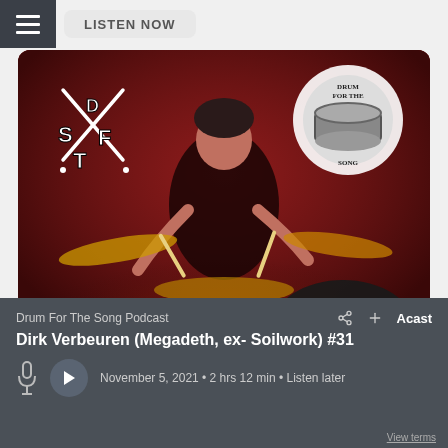LISTEN NOW
[Figure (photo): Podcast thumbnail showing a drummer (Dirk Verbeuren) playing a drum kit with red lighting. Top-left shows 'SDFT' logo with crossed drumsticks. Top-right shows 'Drum For The Song' podcast logo. Bottom-right overlay shows 'Episode #38' in a dark circle badge.]
Drum For The Song Podcast
Acast
Dirk Verbeuren (Megadeth, ex- Soilwork) #31
November 5, 2021 • 2 hrs 12 min • Listen later
View terms